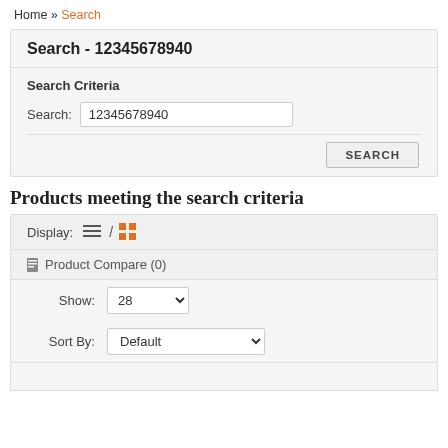Home » Search
Search - 12345678940
Search Criteria
Search: 12345678940
SEARCH
Products meeting the search criteria
Display: [list icon] / [grid icon]
Product Compare (0)
Show: 28
Sort By: Default